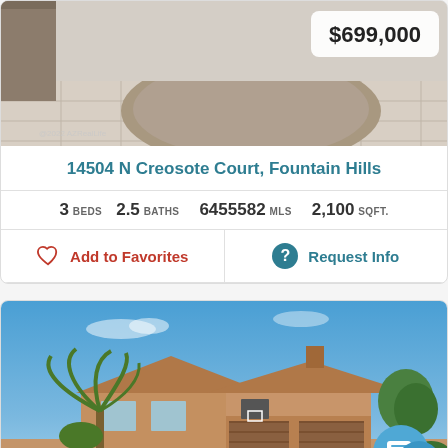[Figure (photo): Interior room photo showing carpeted area with tile floor, price badge showing $699,000]
14504 N Creosote Court, Fountain Hills
3 BEDS   2.5 BATHS   6455582 MLS   2,100 SQFT.
Add to Favorites   Request Info
[Figure (photo): Exterior photo of a single-story Spanish-style home with tile roof, two-car garage, palm tree, blue sky background, chat bubble icon in bottom right]